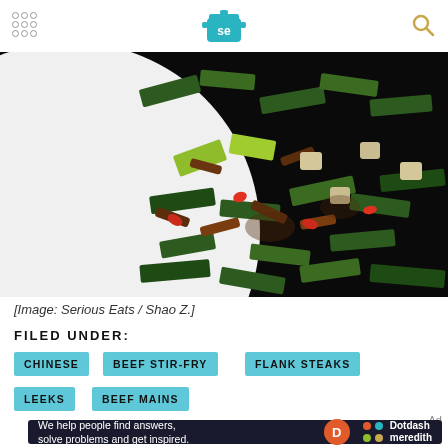Serious Eats header with logo and navigation
[Figure (photo): Close-up photo of a Chinese beef stir-fry with leeks on a white plate, featuring green leek pieces, red chilies, and brown beef strips]
[Image: Serious Eats / Shao Z.]
FILED UNDER:
CHINESE
BEEF STIR-FRY
FLANK STEAKS
LEEKS
BEEF MAINS
[Figure (other): Dotdash Meredith advertisement banner: 'We help people find answers, solve problems and get inspired.']